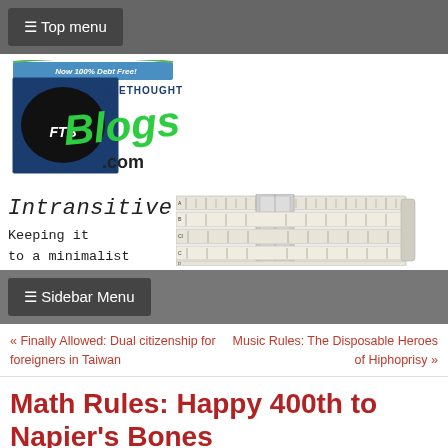≡ Top menu
[Figure (logo): Freethought Blogs logo with FTB initials and stylized text reading freethoughtblogs.com, with tagline 'Now 100% Debt Free!']
[Figure (illustration): Banner with text 'Intransitive' and 'Keeping it to a minimalist' alongside an image of a slide rule]
≡ Sidebar Menu
« Finally Allowed: Dual citizenship for foreigners in Taiwan
Music Rules: The Disposable Heroes of Hiphoprisy »
Math Rules: Happy 400th to Napier's Bones